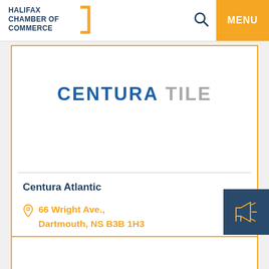HALIFAX CHAMBER OF COMMERCE | MENU
[Figure (logo): Centura Tile logo with blue CENTURA text and gray TILE text]
Centura Atlantic
66 Wright Ave., Dartmouth, NS B3B 1H3
(902) 468-7679